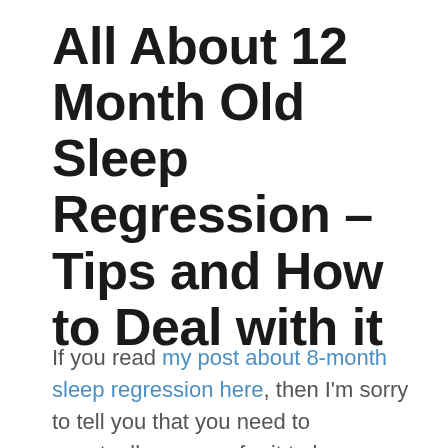All About 12 Month Old Sleep Regression – Tips and How to Deal with it
If you read my post about 8-month sleep regression here, then I'm sorry to tell you that you need to eventually prepare for it to happen again at 12 months. One good